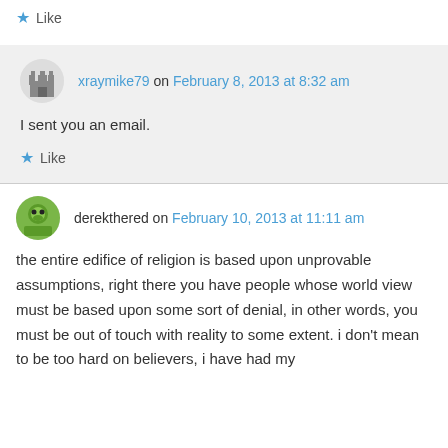Like
xraymike79 on February 8, 2013 at 8:32 am
I sent you an email.
Like
derekthered on February 10, 2013 at 11:11 am
the entire edifice of religion is based upon unprovable assumptions, right there you have people whose world view must be based upon some sort of denial, in other words, you must be out of touch with reality to some extent. i don't mean to be too hard on believers, i have had my